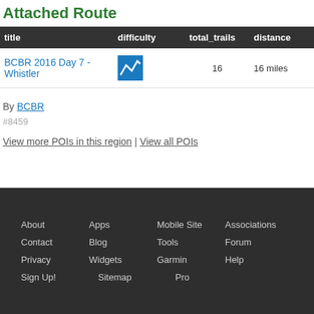Attached Route
| title | difficulty | total_trails | distance |
| --- | --- | --- | --- |
| BCBR 2016 Day 7 - Whistler | [difficulty icon] | 16 | 16 miles |
By BCBR
#8459
View more POIs in this region | View all POIs
[Figure (illustration): Mountain terrain silhouette in dark gray forming the transition to the footer navigation area]
About  Apps  Mobile Site  Associations
Contact  Blog  Tools  Forum
Privacy  Widgets  Garmin  Help
Sign Up!  Sitemap  Pro